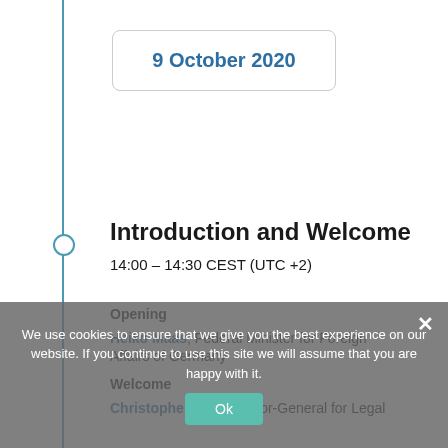9 October 2020
Introduction and Welcome
14:00 – 14:30 CEST (UTC +2)
Opening
Heiko Maas, Federal Minister for Foreign Affairs of Germany
Welcome
Christophe Fick, Director-General for Legal
We use cookies to ensure that we give you the best experience on our website. If you continue to use this site we will assume that you are happy with it.